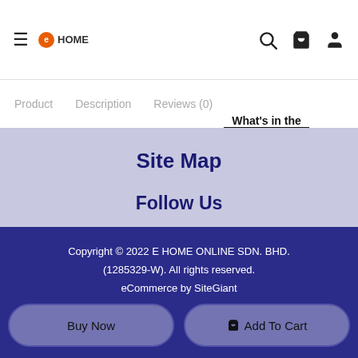≡ e HOME  [search] [cart] [user]
Product   Description   Reviews (0)   What's in the
Site Map
Follow Us
[Figure (other): Three social media icon circles: Facebook (f), YouTube (play button), Instagram (camera)]
Copyright © 2022 E HOME ONLINE SDN. BHD. (1285329-W). All rights reserved. eCommerce by SiteGiant
Buy Now   🛒 Add To Cart